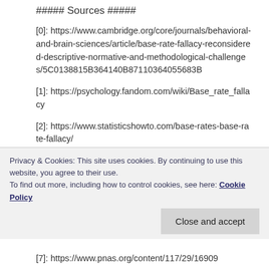##### Sources #####
[0]: https://www.cambridge.org/core/journals/behavioral-and-brain-sciences/article/base-rate-fallacy-reconsidered-descriptive-normative-and-methodological-challenges/5C0138815B364140B87110364055683B
[1]: https://psychology.fandom.com/wiki/Base_rate_fallacy
[2]: https://www.statisticshowto.com/base-rates-base-rate-fallacy/
[3]: https://www.investopedia.com/terms/b/base-rate-fallacy.asp
Privacy & Cookies: This site uses cookies. By continuing to use this website, you agree to their use.
To find out more, including how to control cookies, see here: Cookie Policy
[7]: https://www.pnas.org/content/117/29/16909